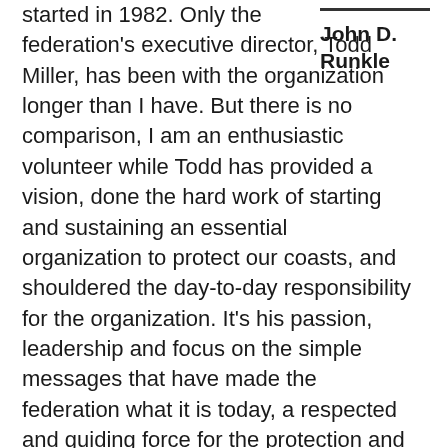started in 1982. Only the federation's executive director, Todd Miller, has been with the organization longer than I have. But there is no comparison, I am an enthusiastic volunteer while Todd has provided a vision, done the hard work of starting and sustaining an essential organization to protect our coasts, and shouldered the day-to-day responsibility for the organization. It's his passion, leadership and focus on the simple messages that have made the federation what it is today, a respected and guiding force for the protection and restoration of our coast.
John D. Runkle